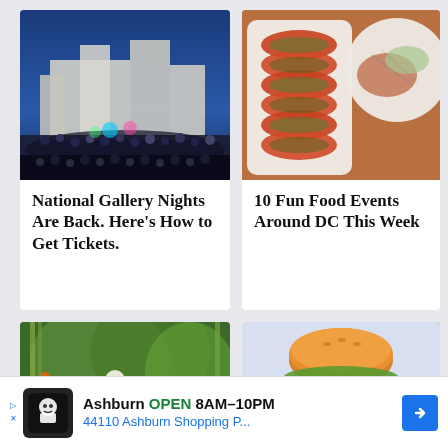[Figure (photo): Outdoor night event at the National Gallery of Art with crowds of people and a modern white stone building lit up at dusk]
National Gallery Nights Are Back. Here’s How to Get Tickets.
[Figure (photo): Overhead shot of sliced tomatoes with herb topping on a white rectangular plate, and a round plate with fish and greens alongside]
10 Fun Food Events Around DC This Week
[Figure (photo): Lush garden scene with flowering plants, bamboo, and bright yellow and orange flowers]
[Figure (photo): A large burger with multiple toppings on a light blue background]
Ashburn  OPEN  8AM–10PM  44110 Ashburn Shopping P...